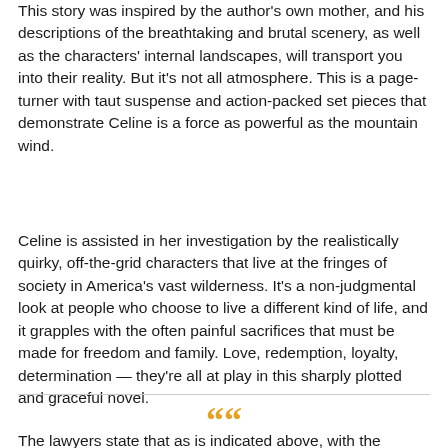This story was inspired by the author's own mother, and his descriptions of the breathtaking and brutal scenery, as well as the characters' internal landscapes, will transport you into their reality. But it's not all atmosphere. This is a page-turner with taut suspense and action-packed set pieces that demonstrate Celine is a force as powerful as the mountain wind.
Celine is assisted in her investigation by the realistically quirky, off-the-grid characters that live at the fringes of society in America's vast wilderness. It's a non-judgmental look at people who choose to live a different kind of life, and it grapples with the often painful sacrifices that must be made for freedom and family. Love, redemption, loyalty, determination — they're all at play in this sharply plotted and graceful novel.
The lawyers state that as is indicated above, with the...